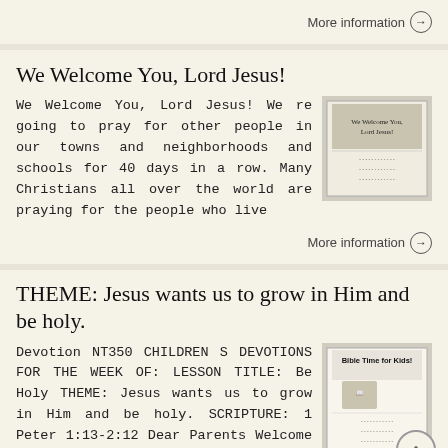More information →
We Welcome You, Lord Jesus!
We Welcome You, Lord Jesus! We re going to pray for other people in our towns and neighborhoods and schools for 40 days in a row. Many Christians all over the world are praying for the people who live
[Figure (illustration): Thumbnail image of a booklet cover titled 'We Welcome You, Lord Jesus!']
More information →
THEME: Jesus wants us to grow in Him and be holy.
Devotion NT350 CHILDREN S DEVOTIONS FOR THE WEEK OF: LESSON TITLE: Be Holy THEME: Jesus wants us to grow in Him and be holy. SCRIPTURE: 1 Peter 1:13-2:12 Dear Parents Welcome to Bible Time for Kids! This
[Figure (illustration): Thumbnail image of a booklet cover titled 'Bible Time for Kids!']